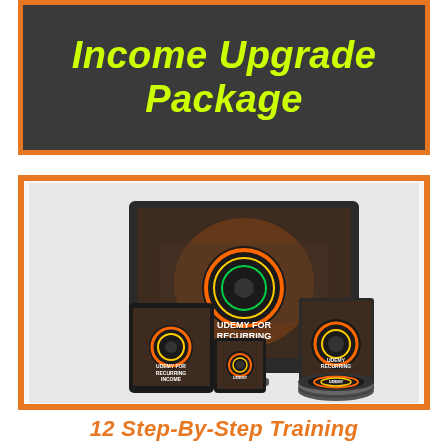Income Upgrade Package
[Figure (photo): Product bundle image showing multiple device mockups (monitor, tablet, phone, DVDs) all displaying 'Udemy for Recurring Income' branding with colorful guitar/keyboard imagery]
12 Step-By-Step Training